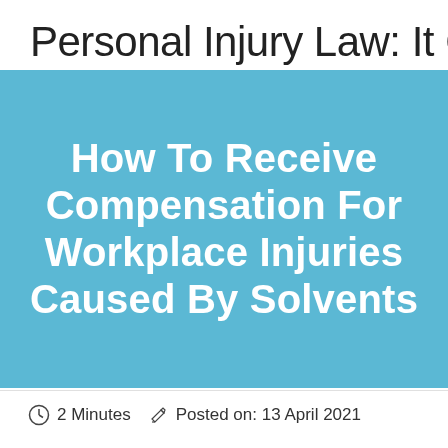Personal Injury Law: It Ge
[Figure (infographic): Blue banner with white text reading: How To Receive Compensation For Workplace Injuries Caused By Solvents]
How To Receive Compensation For Workplace Injuries Caused By Solvents
2 Minutes   Posted on: 13 April 2021